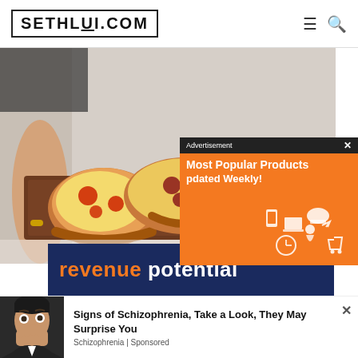SETHLUI.COM
[Figure (photo): Person holding a wooden board with multiple flatbread/pizza slices topped with cheese, tomatoes, and various toppings]
[Figure (advertisement): Orange advertisement overlay showing 'Most Popular Products Updated Weekly!' with shopping icons and graphics]
[Figure (photo): Dark navy banner with text 'revenue potential' in orange and white]
[Figure (advertisement): Bottom advertisement: shocked man photo with text 'Signs of Schizophrenia, Take a Look, They May Surprise You' - Schizophrenia | Sponsored]